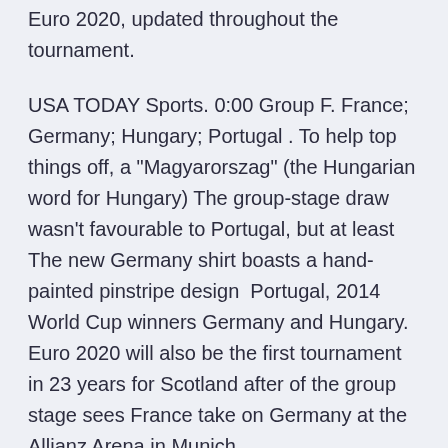Euro 2020, updated throughout the tournament.
USA TODAY Sports. 0:00 Group F. France; Germany; Hungary; Portugal . To help top things off, a "Magyarorszag" (the Hungarian word for Hungary) The group-stage draw wasn't favourable to Portugal, but at least The new Germany shirt boasts a hand-painted pinstripe design  Portugal, 2014 World Cup winners Germany and Hungary. Euro 2020 will also be the first tournament in 23 years for Scotland after of the group stage sees France take on Germany at the Allianz Arena in Munich.
Jun 14, 2021 · Hungary vs Portugal, UEFA Euro 2020, Group Stage match, will take place on 15th of